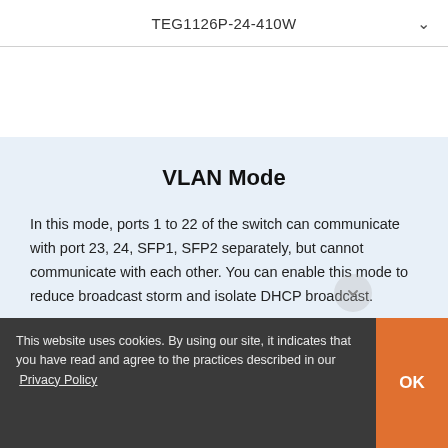TEG1126P-24-410W
VLAN Mode
In this mode, ports 1 to 22 of the switch can communicate with port 23, 24, SFP1, SFP2 separately, but cannot communicate with each other. You can enable this mode to reduce broadcast storm and isolate DHCP broadcast.
This website uses cookies. By using our site, it indicates that you have read and agree to the practices described in our Privacy Policy